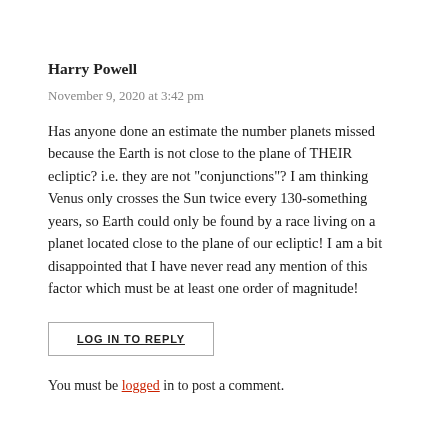Harry Powell
November 9, 2020 at 3:42 pm
Has anyone done an estimate the number planets missed because the Earth is not close to the plane of THEIR ecliptic? i.e. they are not "conjunctions"? I am thinking Venus only crosses the Sun twice every 130-something years, so Earth could only be found by a race living on a planet located close to the plane of our ecliptic! I am a bit disappointed that I have never read any mention of this factor which must be at least one order of magnitude!
LOG IN TO REPLY
You must be logged in to post a comment.